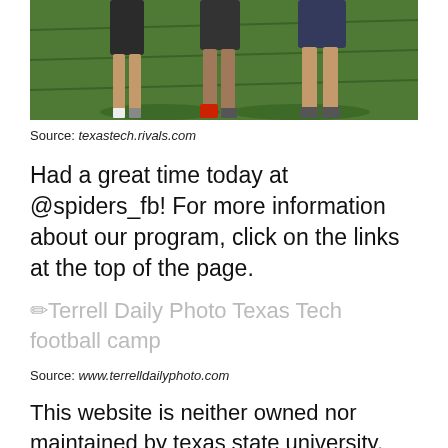[Figure (photo): Photo of two or three people standing on green turf/grass, cropped at mid-torso level, one person wearing red sneakers.]
Source: texastech.rivals.com
Had a great time today at @spiders_fb! For more information about our program, click on the links at the top of the page.
✏Terrell Daily Photo Texas Tech football camp
Source: www.terrelldailyphoto.com
This website is neither owned nor maintained by texas state university. Camps